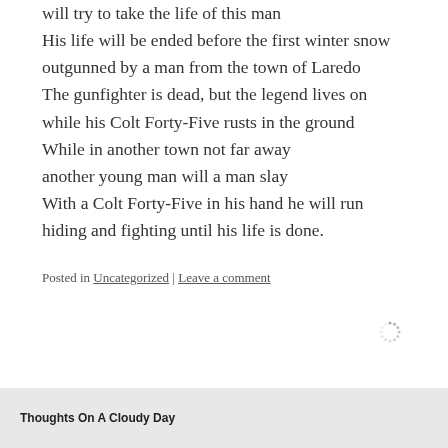will try to take the life of this man
His life will be ended before the first winter snow
outgunned by a man from the town of Laredo
The gunfighter is dead, but the legend lives on
while his Colt Forty-Five rusts in the ground
While in another town not far away
another young man will a man slay
With a Colt Forty-Five in his hand he will run
hiding and fighting until his life is done.
Posted in Uncategorized | Leave a comment
[Figure (other): Loading spinner icon]
Thoughts On A Cloudy Day